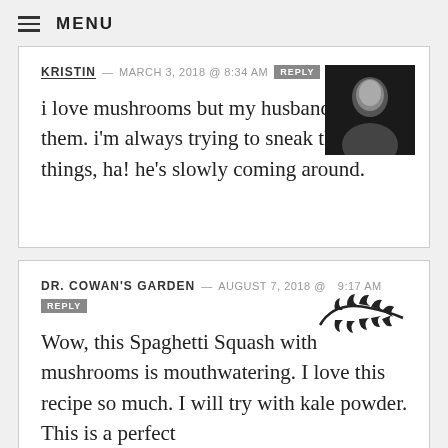MENU
KRISTIN — MARCH 3, 2018 @ 8:34 AM REPLY
i love mushrooms but my husband hates them. i'm always trying to sneak them into things, ha! he's slowly coming around.
DR. COWAN'S GARDEN — AUGUST 7, 2018 @ 9:17 AM REPLY
Wow, this Spaghetti Squash with mushrooms is mouthwatering. I love this recipe so much. I will try with kale powder. This is a perfect dinner dish for the party.